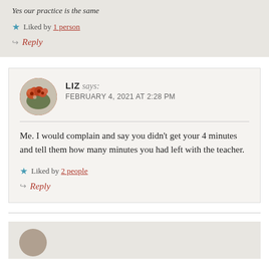Yes our practice is the same
★ Liked by 1 person
↪ Reply
LIZ says: FEBRUARY 4, 2021 AT 2:28 PM
Me. I would complain and say you didn't get your 4 minutes and tell them how many minutes you had left with the teacher.
★ Liked by 2 people
↪ Reply